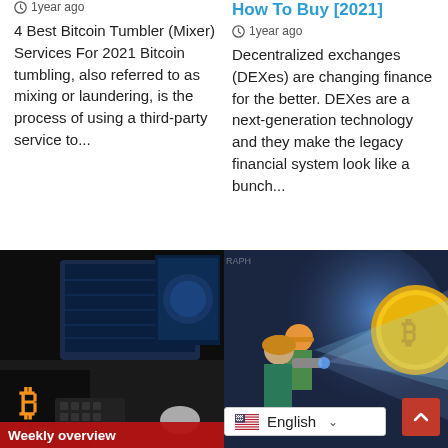1 year ago
4 Best Bitcoin Tumbler (Mixer) Services For 2021 Bitcoin tumbling, also referred to as mixing or laundering, is the process of using a third-party service to...
How To Buy [2021]
1 year ago
Decentralized exchanges (DEXes) are changing finance for the better. DEXes are a next-generation technology and they make the legacy financial system look like a bunch...
[Figure (photo): Photo of a cryptocurrency trading setup showing a Bitcoin logo, hand on keyboard, and computer monitors with trading data]
[Figure (illustration): Illustration of miners working with flashlights near a large golden Bitcoin, styled as a comic/graphic novel]
Weekly overview
English